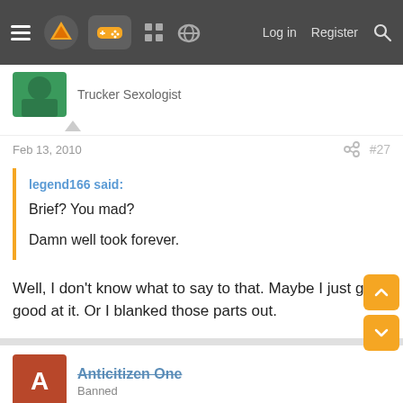Navigation bar with menu, logo, controller icon, forum icons, Log in, Register, Search
Trucker Sexologist
Feb 13, 2010  #27
legend166 said:
Brief? You mad?
Damn well took forever.
Well, I don't know what to say to that. Maybe I just got good at it. Or I blanked those parts out.
Anticitizen One
Banned
Feb 13, 2010
don't bother with this game. It's being thrown together for the